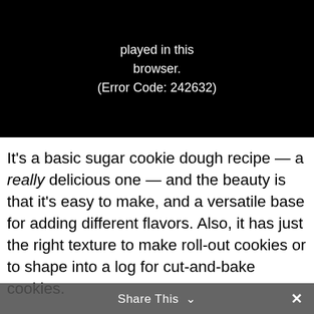[Figure (screenshot): Video player error screen showing black background with white text: 'played in this browser. (Error Code: 242632)']
It's a basic sugar cookie dough recipe — a really delicious one — and the beauty is that it's easy to make, and a versatile base for adding different flavors. Also, it has just the right texture to make roll-out cookies or to shape into a log for cut-and-bake cookies.
So in addition to the basic recipe below, I've shared ideas for how to turn this cookie dough into 10 different delicious cookies. Honestly, though, my ideas are the tip of the iceberg because the possibilities are endless. Go with what you love!